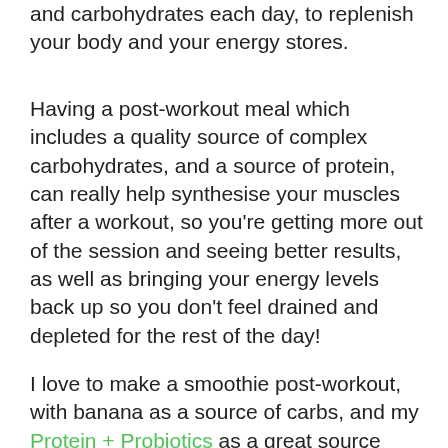and carbohydrates each day, to replenish your body and your energy stores.
Having a post-workout meal which includes a quality source of complex carbohydrates, and a source of protein, can really help synthesise your muscles after a workout, so you're getting more out of the session and seeing better results, as well as bringing your energy levels back up so you don't feel drained and depleted for the rest of the day!
I love to make a smoothie post-workout, with banana as a source of carbs, and my Protein + Probiotics as a great source